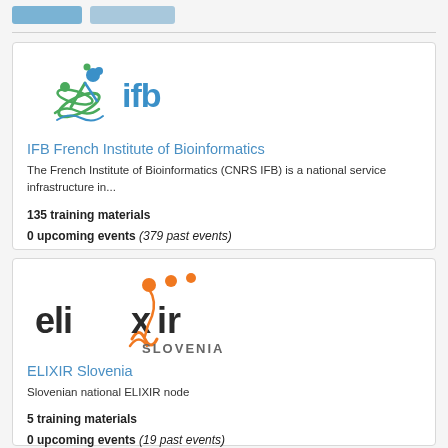[Figure (logo): IFB French Institute of Bioinformatics logo with DNA/figure graphic and 'ifb' text in blue]
IFB French Institute of Bioinformatics
The French Institute of Bioinformatics (CNRS IFB) is a national service infrastructure in...
135 training materials
0 upcoming events (379 past events)
[Figure (logo): ELIXIR Slovenia logo with orange dots and helix graphic]
ELIXIR Slovenia
Slovenian national ELIXIR node
5 training materials
0 upcoming events (19 past events)